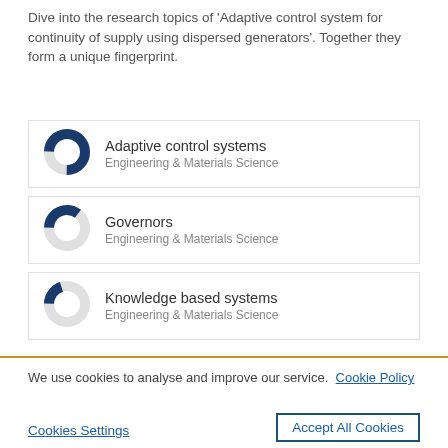Dive into the research topics of 'Adaptive control system for continuity of supply using dispersed generators'. Together they form a unique fingerprint.
[Figure (donut-chart): Donut chart showing percentage for Adaptive control systems, Engineering & Materials Science, approximately 75% filled navy blue]
[Figure (donut-chart): Donut chart showing percentage for Governors, Engineering & Materials Science, approximately 35% filled navy blue]
[Figure (donut-chart): Donut chart showing percentage for Knowledge based systems, Engineering & Materials Science, approximately 20% filled navy blue]
We use cookies to analyse and improve our service. Cookie Policy
Cookies Settings
Accept All Cookies